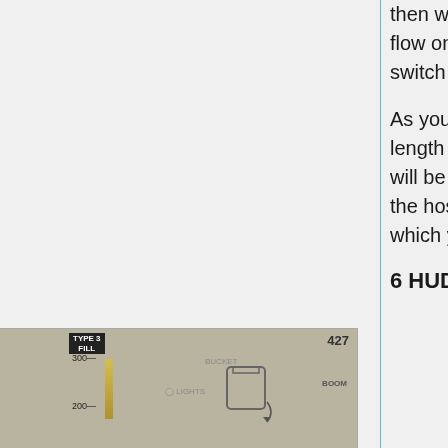then walk to the aircraft and use the left mouse button to toggle fluid flow on/off. Clicking the hose reel again while using the hose, or the switch next to it, will change the fluid type.
As you walk, the hose will pay out behind you up to the maximum length of the hose. If you attempt to walk past the hose length, you will be pulled back. You can click on any of the hose links to shorten the hose by cleaning up hose between yourself and the segment on which you click.
6 HUD
[Figure (screenshot): HUD screenshot showing TYPE 1 FILL (1500, 1000 indicators with orange bar) and TYPE 3 FILL (300, 200 indicators with yellow bar), BUCKET, LIGHTS, BOOM labels, and number 427 in top right corner.]